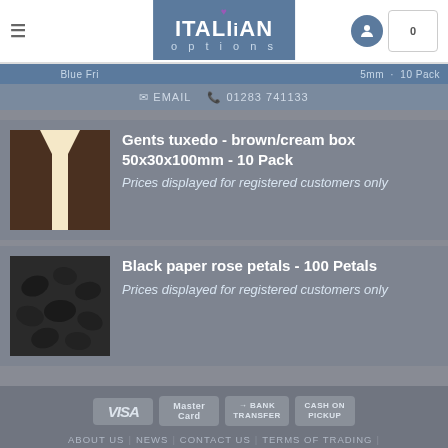Italian Options - Blue Frill ... 5mm - 10 Pack
EMAIL   01283 741133
[Figure (photo): Product image: Gents tuxedo brown/cream box]
Gents tuxedo - brown/cream box 50x30x100mm - 10 Pack
Prices displayed for registered customers only
[Figure (photo): Product image: Black paper rose petals]
Black paper rose petals - 100 Petals
Prices displayed for registered customers only
VISA | MasterCard | BANK TRANSFER | CASH ON PICKUP
ABOUT US | NEWS | CONTACT US | TERMS OF TRADING | PRIVACY POLICY
Copyright 2022 © ITALIAN OPTIONS LTD